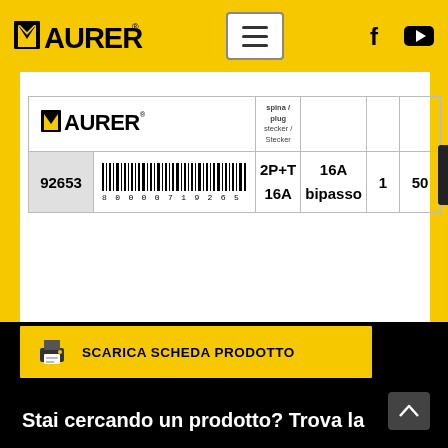MAURER
|  |  | spina / plug / stecker / Stecker |  |  |  |
| --- | --- | --- | --- | --- | --- |
| 92653 | 8000007192 6539 | 2P+T 16A | 16A bipasso | 1 | 50 |
SCARICA SCHEDA PRODOTTO
Stai cercando un prodotto? Trova la